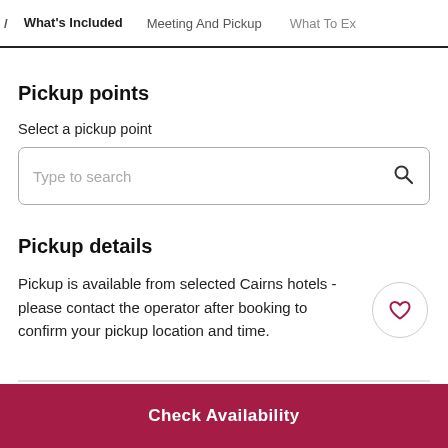/ What's Included   Meeting And Pickup   What To Ex
Pickup points
Select a pickup point
Type to search
Pickup details
Pickup is available from selected Cairns hotels - please contact the operator after booking to confirm your pickup location and time.
Check Availability